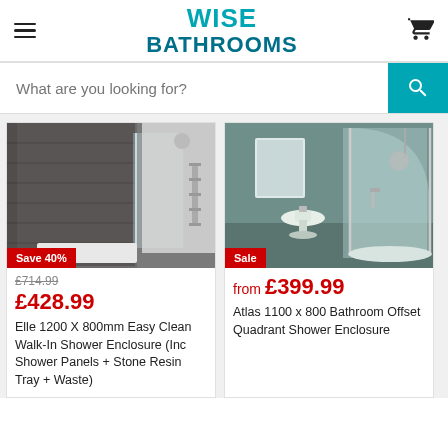WISE BATHROOMS
What are you looking for?
[Figure (photo): Walk-in shower enclosure with dark stone-effect panels, glass panel, and white stone resin tray]
Save 40%
£714.99
£428.99
Elle 1200 X 800mm Easy Clean Walk-In Shower Enclosure (Inc Shower Panels + Stone Resin Tray + Waste)
[Figure (photo): Offset quadrant shower enclosure with curved glass doors and white tray, pedestal basin visible in background]
Sale
from £399.99
Atlas 1100 x 800 Bathroom Offset Quadrant Shower Enclosure